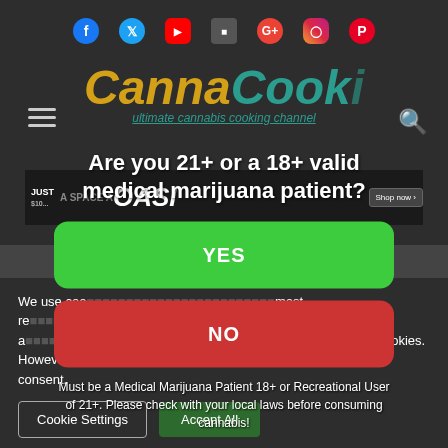[Figure (screenshot): Website background showing CannaCook website with social media icons, logo, navigation menu icon, search icon, advertisement banner, and cookie consent notice]
Are you 21+ or a 18+ valid medical marijuana patient?
YES
NO
Must be a Medical Marijuana Patient 18+ or Recreational User of 21+. Please check with your local laws before consuming cannabis!
We use coo... most re... ferences a... nt to the use of ALL the cookies. However, you may visit "Cookie Settings" to provide a controlled consent.
Cookie Settings
Accept All